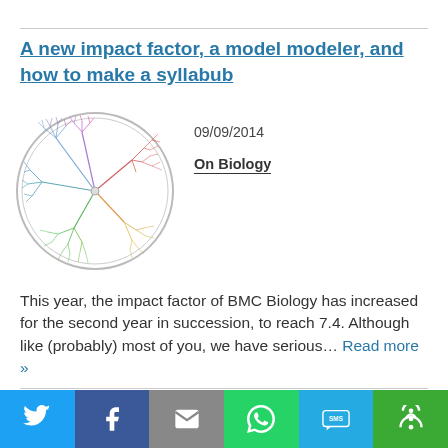A new impact factor, a model modeler, and how to make a syllabub
09/09/2014
On Biology
[Figure (illustration): Circular phylogenetic tree diagram with colorful branches arranged in a radial pattern inside a circular border]
This year, the impact factor of BMC Biology has increased for the second year in succession, to reach 7.4. Although like (probably) most of you, we have serious… Read more »
Cancer and diet – how to ask the right questions